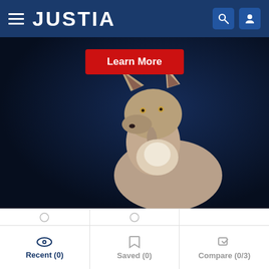JUSTIA
[Figure (screenshot): Justia website hero banner with wolf image and Learn More button on dark navy background]
David Reid Cook Jr
(770) 270-6974  Free Consultation
Energy, Business, Construction and Tax
Recent (0)  Saved (0)  Compare (0/3)